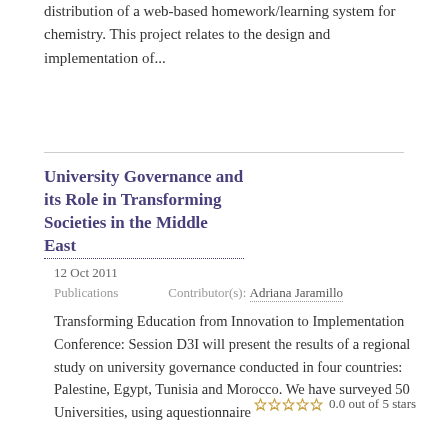distribution of a web-based homework/learning system for chemistry. This project relates to the design and implementation of...
University Governance and its Role in Transforming Societies in the Middle East
0.0 out of 5 stars
12 Oct 2011
Publications    Contributor(s): Adriana Jaramillo
Transforming Education from Innovation to Implementation Conference: Session D3I will present the results of a regional study on university governance conducted in four countries: Palestine, Egypt, Tunisia and Morocco. We have surveyed 50 Universities, using aquestionnaire